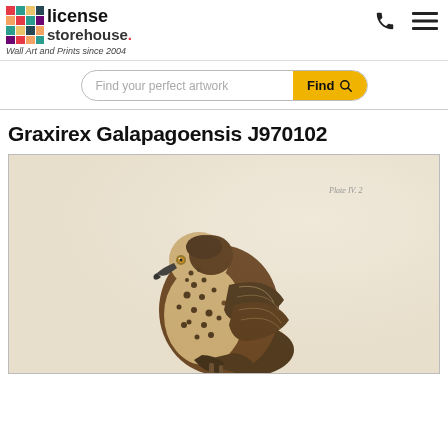license storehouse. Wall Art and Prints since 2004
Find your perfect artwork
Graxirex Galapagoensis J970102
[Figure (illustration): Scientific illustration of a Galapagos hawk (Graxirex Galapagoensis) shown in profile, facing left with spotted brown and cream plumage, on a pale beige background. Plate IV.2 notation visible in upper right.]